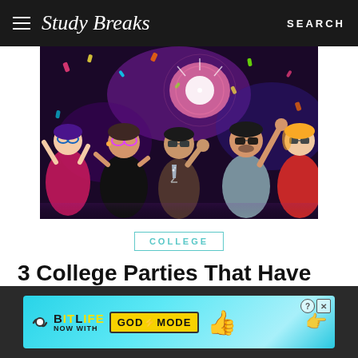Study Breaks — SEARCH
[Figure (photo): Group of young people at a party, wearing sunglasses, celebrating with confetti and colorful lights in a dark club-like setting. One person holds a champagne glass.]
COLLEGE
3 College Parties That Have Nothing to Do with Alcohol
[Figure (infographic): BitLife advertisement banner with cyan gradient background reading: BitLife NOW WITH GOD MODE, with thumbs up emoji and pointing hand graphic, and close/info buttons.]